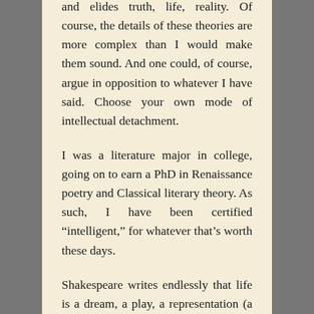and elides truth, life, reality. Of course, the details of these theories are more complex than I would make them sound. And one could, of course, argue in opposition to whatever I have said. Choose your own mode of intellectual detachment.
I was a literature major in college, going on to earn a PhD in Renaissance poetry and Classical literary theory. As such, I have been certified “intelligent,” for whatever that’s worth these days.
Shakespeare writes endlessly that life is a dream, a play, a representation (a commonplace of his era by the playwright